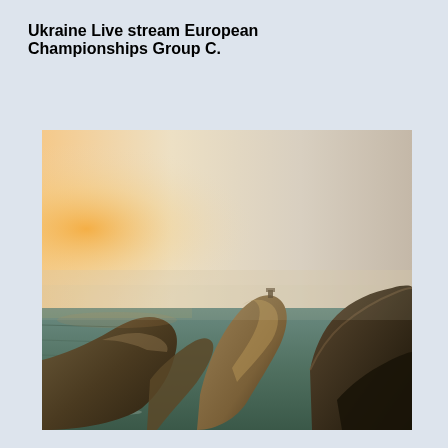Ukraine Live stream European Championships Group C.
[Figure (photo): Coastal landscape at sunset showing dramatic rocky cliffs meeting the ocean. Large rocky headland in center with a small structure visible on top. Sea with gentle waves in the foreground left. Warm golden-orange sky with hazy glow on the left horizon.]